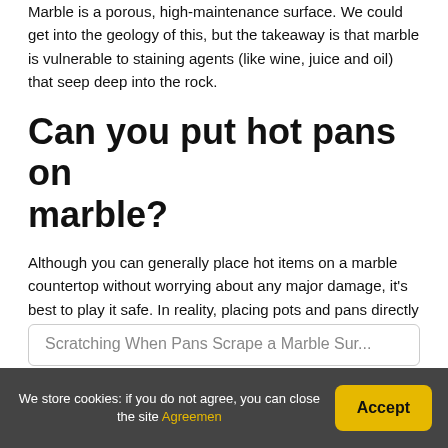Marble is a porous, high-maintenance surface. We could get into the geology of this, but the takeaway is that marble is vulnerable to staining agents (like wine, juice and oil) that seep deep into the rock.
Can you put hot pans on marble?
Although you can generally place hot items on a marble countertop without worrying about any major damage, it's best to play it safe. In reality, placing pots and pans directly on marble is more likely to cause scratching than cracking, discoloration or yellowing.
Scratching When Pans Scrape a Marble Sur...
We store cookies: if you do not agree, you can close the site Agreemen